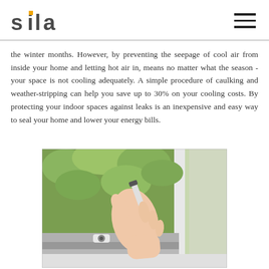Sila logo and navigation
the winter months. However, by preventing the seepage of cool air from inside your home and letting hot air in, means no matter what the season - your space is not cooling adequately. A simple procedure of caulking and weather-stripping can help you save up to 30% on your cooling costs. By protecting your indoor spaces against leaks is an inexpensive and easy way to seal your home and lower your energy bills.
[Figure (photo): A hand holding a caulking gun applying sealant along the edge of a window frame, with green foliage visible through the window in the background.]